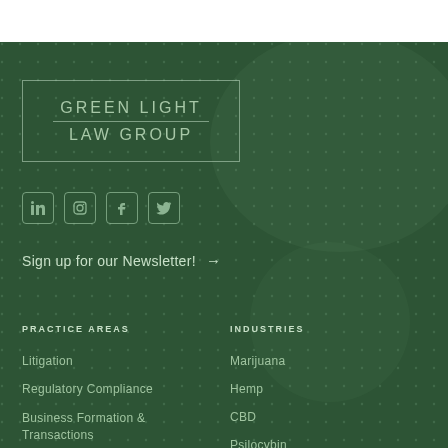[Figure (logo): Green Light Law Group logo in a rectangular border on dark green background]
[Figure (infographic): Four social media icons: LinkedIn, Instagram, Facebook, Twitter]
Sign up for our Newsletter! →
PRACTICE AREAS
INDUSTRIES
Litigation
Regulatory Compliance
Business Formation & Transactions
Marijuana
Hemp
CBD
Psilocybin